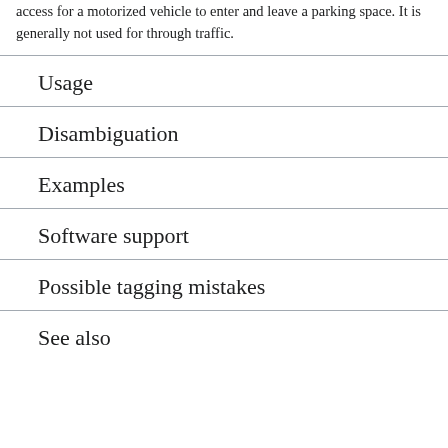access for a motorized vehicle to enter and leave a parking space. It is generally not used for through traffic.
Usage
Disambiguation
Examples
Software support
Possible tagging mistakes
See also